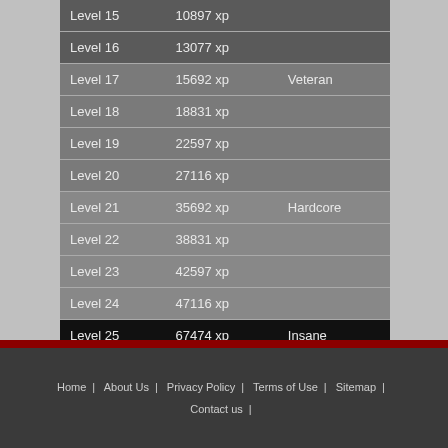| Level | XP | Rank |
| --- | --- | --- |
| Level 15 | 10897 xp |  |
| Level 16 | 13077 xp |  |
| Level 17 | 15692 xp | Veteran |
| Level 18 | 18831 xp |  |
| Level 19 | 22597 xp |  |
| Level 20 | 27116 xp |  |
| Level 21 | 35692 xp | Hardcore |
| Level 22 | 38831 xp |  |
| Level 23 | 42597 xp |  |
| Level 24 | 47116 xp |  |
| Level 25 | 67474 xp | Insane |
Home | About Us | Privacy Policy | Terms of Use | Sitemap | Contact us |